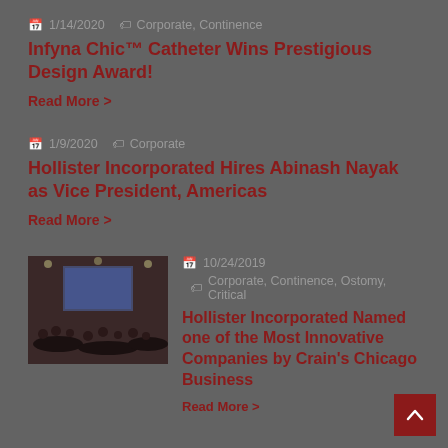1/14/2020  Corporate, Continence
Infyna Chic™ Catheter Wins Prestigious Design Award!
Read More >
1/9/2020  Corporate
Hollister Incorporated Hires Abinash Nayak as Vice President, Americas
Read More >
[Figure (photo): Event photo showing people seated at tables in a dimly lit venue with a presentation screen at the front]
10/24/2019  Corporate, Continence, Ostomy, Critical
Hollister Incorporated Named one of the Most Innovative Companies by Crain's Chicago Business
Read More >